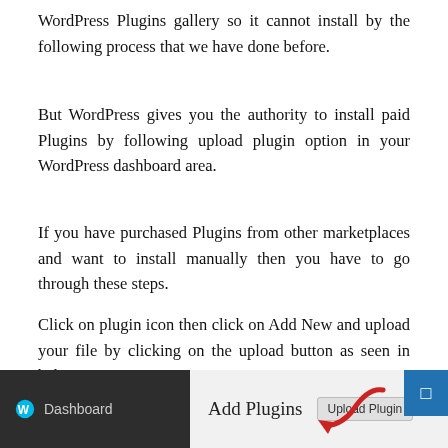WordPress Plugins gallery so it cannot install by the following process that we have done before.
But WordPress gives you the authority to install paid Plugins by following upload plugin option in your WordPress dashboard area.
If you have purchased Plugins from other marketplaces and want to install manually then you have to go through these steps.
Click on plugin icon then click on Add New and upload your file by clicking on the upload button as seen in below image.
[Figure (screenshot): WordPress admin dashboard screenshot showing the Add Plugins page with an Upload Plugin button highlighted by a red arrow, and a blue button in the top right corner.]